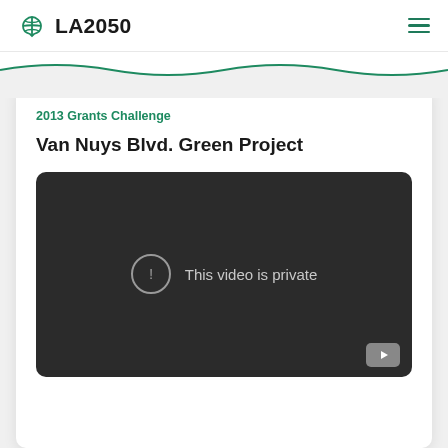LA2050
2013 Grants Challenge
Van Nuys Blvd. Green Project
[Figure (screenshot): Embedded video player showing 'This video is private' message with a warning icon and YouTube logo button in the bottom right corner.]